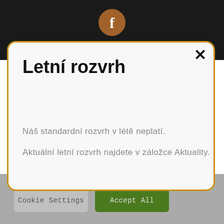[Figure (screenshot): Dark top bar with Facebook icon (orange circle with white 'f')]
Letní rozvrh
Náš standardní rozvrh v létě neplatí.
Aktuální letní rozvrh najdete v záložce Aktuality.
Cookie Settings  Accept All